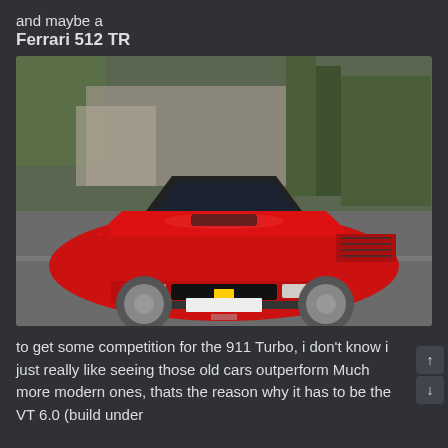and maybe a
Ferrari 512 TR
[Figure (photo): Red Ferrari 512 TR sports car parked on a street with trees and buildings in the background]
to get some competition for the 911 Turbo, i don't know i just really like seeing those old cars outperform Much more modern ones, thats the reason why it has to be the VT 6.0 (build under